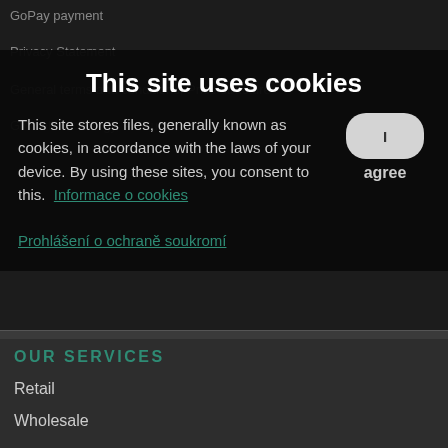GoPay payment
Privacy Statement
General terms and conditions, Price structure
GTC about energy, Products, services
This site uses cookies
This site stores files, generally known as cookies, in accordance with the laws of your device. By using these sites, you consent to this. Informace o cookies
Prohlášení o ochraně soukromí
OUR SERVICES
Retail
Wholesale
Copyright © 2018 - EPAM - All rights reserved. Developed by Smarcoms